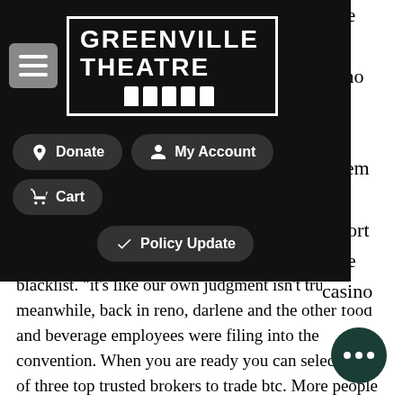[Figure (screenshot): Greenville Theatre website navigation overlay showing logo, hamburger menu button, Donate, My Account, Cart, and Policy Update buttons on dark background]
casino blacklist. "it's like our own judgment isn't trusted. "32 meanwhile, back in reno, darlene and the other food and beverage employees were filing into the convention. When you are ready you can select any of three top trusted brokers to trade btc. More people are still willing to make transactions with trusted casino sites like fanduel, which is known for its strong and reliable. As a matter of fact, statistics show that there many players throughout the world who actually log in on trusted casino sites on a